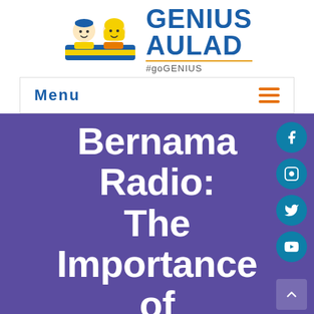[Figure (logo): Genius Aulad logo with two cartoon children (boy with blue cap, girl with yellow hijab) sitting behind a blue and yellow banner, beside bold blue text reading GENIUS AULAD and hashtag #goGENIUS]
Menu
Bernama Radio: The Importance of